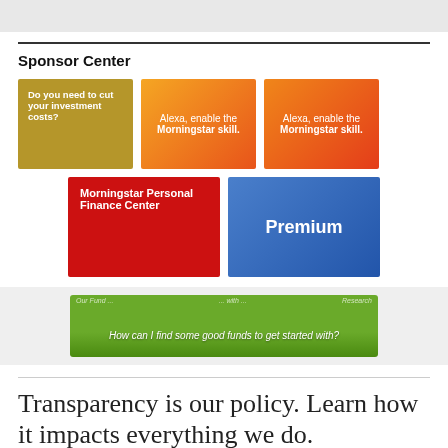[Figure (other): Gray header bar at top of page]
Sponsor Center
[Figure (infographic): Sponsor Center ad: gold/olive colored box with text 'Do you need to cut your investment costs?']
[Figure (infographic): Sponsor Center ad: orange gradient box with text 'Alexa, enable the Morningstar skill.']
[Figure (infographic): Sponsor Center ad: orange-red gradient box with text 'Alexa, enable the Morningstar skill.']
[Figure (infographic): Sponsor Center ad: red box with text 'Morningstar Personal Finance Center']
[Figure (infographic): Sponsor Center ad: blue gradient box with text 'Premium']
[Figure (screenshot): Green Alexa banner ad with text 'How can I find some good funds to get started with?']
Transparency is our policy. Learn how it impacts everything we do.